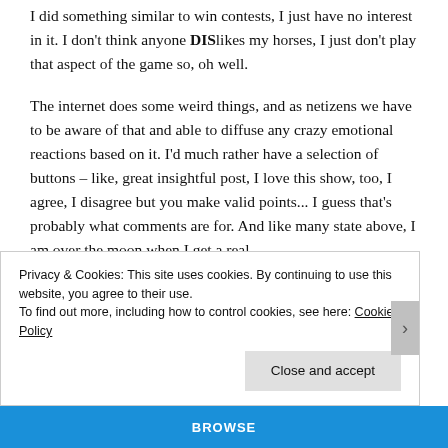I did something similar to win contests, I just have no interest in it. I don't think anyone DISIikes my horses, I just don't play that aspect of the game so, oh well.
The internet does some weird things, and as netizens we have to be aware of that and able to diffuse any crazy emotional reactions based on it. I'd much rather have a selection of buttons – like, great insightful post, I love this show, too, I agree, I disagree but you make valid points... I guess that's probably what comments are for. And like many state above, I am over the moon when I get a real
Privacy & Cookies: This site uses cookies. By continuing to use this website, you agree to their use.
To find out more, including how to control cookies, see here: Cookie Policy
Close and accept